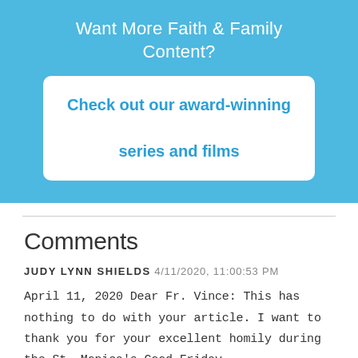Want More Faith & Family Content?
Check out our award-winning series and films
Comments
JUDY LYNN SHIELDS 4/11/2020, 11:00:53 PM
April 11, 2020 Dear Fr. Vince: This has nothing to do with your article. I want to thank you for your excellent homily during the St. Monica's Good Friday,